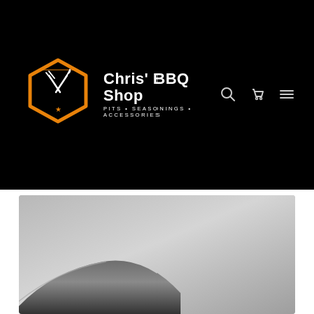[Figure (screenshot): Website header for Chris' BBQ Shop on a black background. Features an orange hexagonal badge logo with crossed fork and knife utensils and a star, alongside bold white text reading 'Chris' BBQ Shop' with subtitle 'PITS • SEASONINGS • ACCESSORIES'. Navigation icons (search, cart, menu) appear on the right.]
[Figure (photo): Partial product photo showing a knife blade on a gray gradient background, cropped so only the lower-left portion of the blade is visible.]